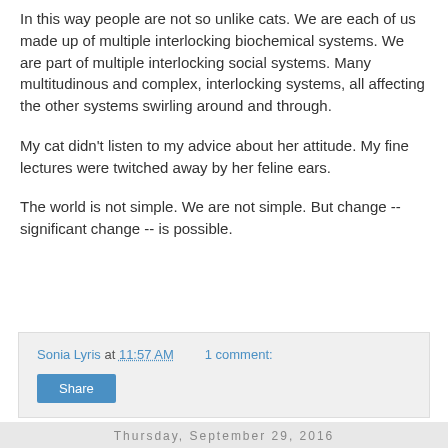In this way people are not so unlike cats. We are each of us made up of multiple interlocking biochemical systems. We are part of multiple interlocking social systems. Many multitudinous and complex, interlocking systems, all affecting the other systems swirling around and through.
My cat didn't listen to my advice about her attitude. My fine lectures were twitched away by her feline ears.
The world is not simple. We are not simple. But change -- significant change -- is possible.
Sonia Lyris at 11:57 AM   1 comment:  Share
Thursday, September 29, 2016